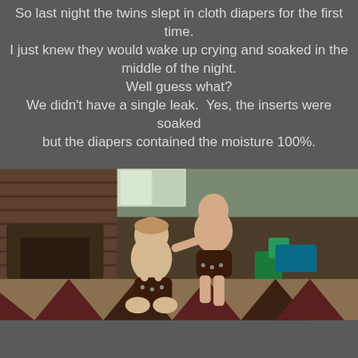So last night the twins slept in cloth diapers for the first time. I just knew they would wake up crying and soaked in the middle of the night. Well guess what? We didn't have a single leak. Yes, the inserts were soaked but the diapers contained the moisture 100%.
[Figure (photo): Two toddlers wearing dark brown cloth diapers, one sitting and one standing, in a living room with a patterned rug and leather furniture in the background.]